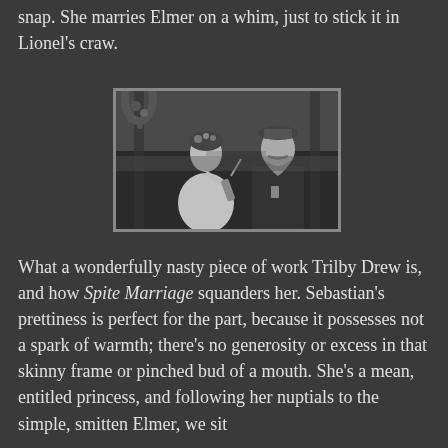snap. She marries Elmer on a whim, just to stick it in Lionel's craw.
[Figure (photo): Black and white still photograph showing a woman in a white dress with flowers in her hair holding a violin, standing next to a bearded man in a military-style jacket and cap, with a floral arch and outdoor background.]
What a wonderfully nasty piece of work Trilby Drew is, and how Spite Marriage squanders her. Sebastian's prettiness is perfect for the part, because it possesses not a spark of warmth; there's no generosity or excess in that skinny frame or pinched bud of a mouth. She's a mean, entitled princess, and following her nuptials to the simple, smitten Elmer, we sit